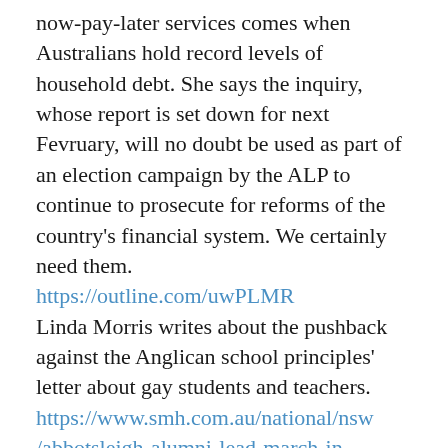now-pay-later services comes when Australians hold record levels of household debt. She says the inquiry, whose report is set down for next Fevruary, will no doubt be used as part of an election campaign by the ALP to continue to prosecute for reforms of the country's financial system. We certainly need them.
https://outline.com/uwPLMR
Linda Morris writes about the pushback against the Anglican school principles' letter about gay students and teachers.
https://www.smh.com.au/national/nsw/abbotsleigh-alumni-lead-march-in-support-of-equality-20181109-p50f4c.html
We are still making many mistakes with